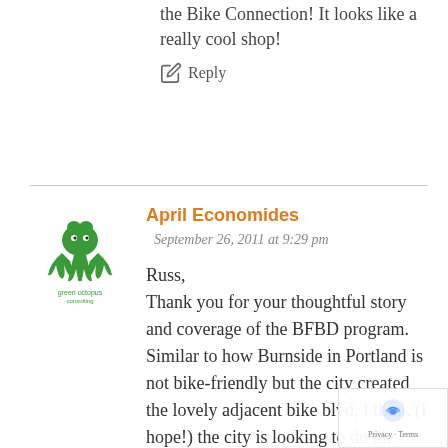the Bike Connection! It looks like a really cool shop!
Reply
April Economides
September 26, 2011 at 9:29 pm
Russ,
Thank you for your thoughtful story and coverage of the BFBD program. Similar to how Burnside in Portland is not bike-friendly but the city created the lovely adjacent bike blvd, I think (I hope!) the city is looking to do the
[Figure (logo): Green Octopus Consulting logo — a green octopus illustration with the text 'green octopus consulting' below it]